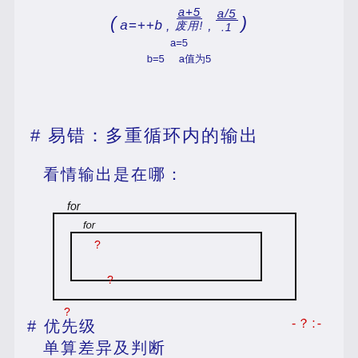# 易错：多重循环内的输出
看情输出是在哪：
[Figure (illustration): Nested for-loop diagram: outer box labeled 'for' at top-left, inner box labeled 'for' inside, with red question marks inside the inner box, below the inner box, and below the outer box, indicating where output occurs.]
# 优先级
单算差异及判断